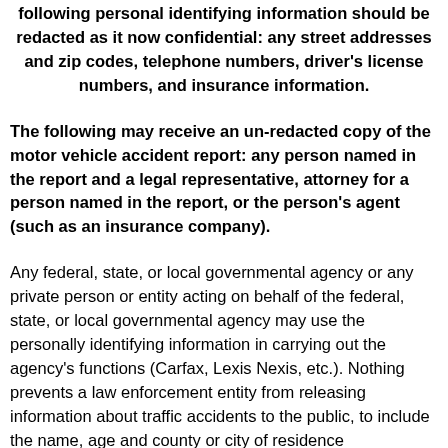following personal identifying information should be redacted as it now confidential:  any street addresses and zip codes, telephone numbers, driver's license numbers, and insurance information.
The following may receive an un-redacted copy of the motor vehicle accident report:  any person named in the report and a legal representative, attorney for a person named in the report, or the person's agent (such as an insurance company).
Any federal, state, or local governmental agency or any private person or entity acting on behalf of the federal, state, or local governmental agency may use the personally identifying information in carrying out the agency's functions (Carfax, Lexis Nexis, etc.).  Nothing prevents a law enforcement entity from releasing information about traffic accidents to the public, to include the name, age and county or city of residence